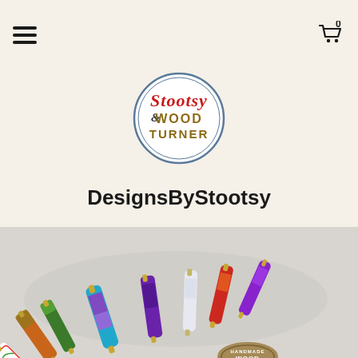Navigation header with hamburger menu and cart icon (0 items)
[Figure (logo): Stootsy & Wood Turner circular logo with red cursive 'Stootsy' text and gold/brown 'WOOD TURNER' text inside a round badge]
DesignsByStootsy
[Figure (photo): Photo of multiple colorful handmade pens fanned out on a surface, showing various resin and wood patterns including orange, green, teal/blue/purple swirl, purple marbled, white sparkle, red/orange swirl, and purple pens, along with a prominent black and white pen with gold accents in the foreground, and a partial Handmade Wood badge visible at bottom]